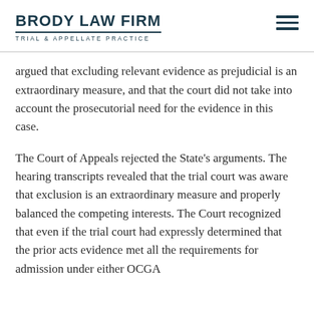BRODY LAW FIRM — TRIAL & APPELLATE PRACTICE
argued that excluding relevant evidence as prejudicial is an extraordinary measure, and that the court did not take into account the prosecutorial need for the evidence in this case.
The Court of Appeals rejected the State's arguments. The hearing transcripts revealed that the trial court was aware that exclusion is an extraordinary measure and properly balanced the competing interests. The Court recognized that even if the trial court had expressly determined that the prior acts evidence met all the requirements for admission under either OCGA